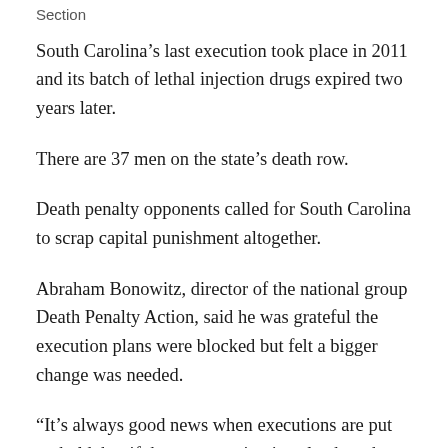Section
South Carolina's last execution took place in 2011 and its batch of lethal injection drugs expired two years later.
There are 37 men on the state's death row.
Death penalty opponents called for South Carolina to scrap capital punishment altogether.
Abraham Bonowitz, director of the national group Death Penalty Action, said he was grateful the execution plans were blocked but felt a bigger change was needed.
“It’s always good news when executions are put on hold, but if the conversation is only about how we kill our prisoners, rather than if the state should have this power,